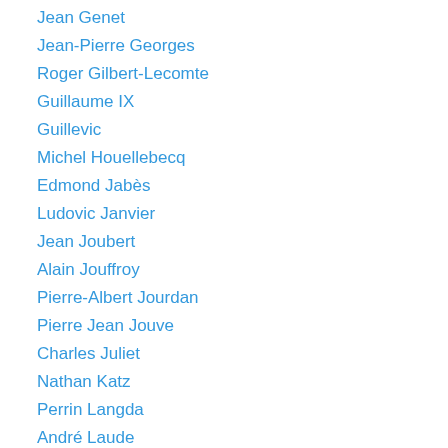Jean Genet
Jean-Pierre Georges
Roger Gilbert-Lecomte
Guillaume IX
Guillevic
Michel Houellebecq
Edmond Jabès
Ludovic Janvier
Jean Joubert
Alain Jouffroy
Pierre-Albert Jourdan
Pierre Jean Jouve
Charles Juliet
Nathan Katz
Perrin Langda
André Laude
Patrick Laupin
Lautréamont
Annie Le Brun
Michel Leiris